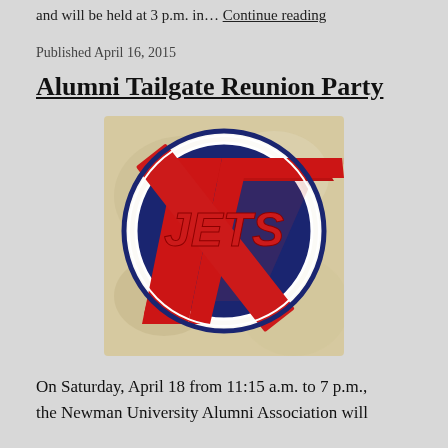and will be held at 3 p.m. in… Continue reading
Published April 16, 2015
Alumni Tailgate Reunion Party
[Figure (logo): Jets logo: circular dark navy blue circle with white ring border, red stylized 'JETS' text with lightning bolt through the circle, on a blurred beige/tan background.]
On Saturday, April 18 from 11:15 a.m. to 7 p.m., the Newman University Alumni Association will